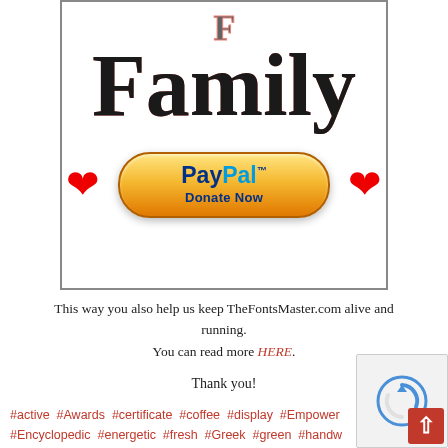[Figure (illustration): Banner box with large bold serif 'Family' text in dark color with red/coral outline, flanked by red hearts on either side of a PayPal Donate Now button (orange gradient pill-shaped button)]
This way you also help us keep TheFontsMaster.com alive and running.
You can read more HERE.
Thank you!
#active #Awards #certificate #coffee #display #Empower #Encyclopedic #energetic #fresh #Greek #green #handw... #Handwriting inspired #Informative #menus #music